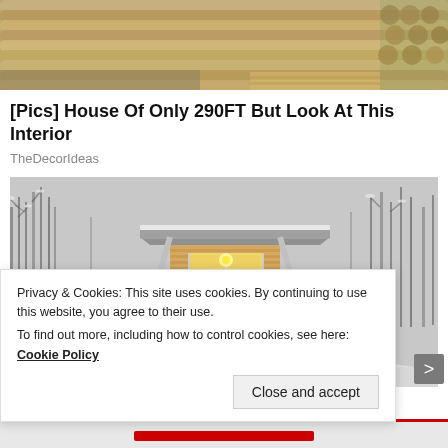[Figure (photo): Top banner image showing stacked wooden logs/timber at a construction site]
[Pics] House Of Only 290FT But Look At This Interior
TheDecorIdeas
[Figure (photo): Small wooden cabin/tiny house exterior in winter snow scene, warm light glowing through windows, grey flat roof overhang]
Privacy & Cookies: This site uses cookies. By continuing to use this website, you agree to their use.
To find out more, including how to control cookies, see here: Cookie Policy
Close and accept